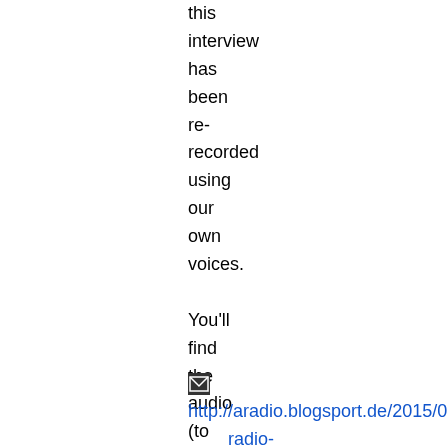this interview has been re-recorded using our own voices.
You'll find the audio (to listen online or download in different sizes) here: http://aradio.blogsport.de/2015/09/05/a-radio-in-